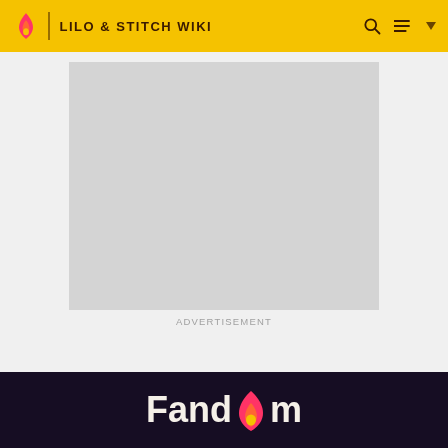LILO & STITCH WIKI
[Figure (screenshot): Grey advertisement placeholder box in the main content area]
ADVERTISEMENT
[Figure (logo): Fandom logo in white text on dark purple background footer]